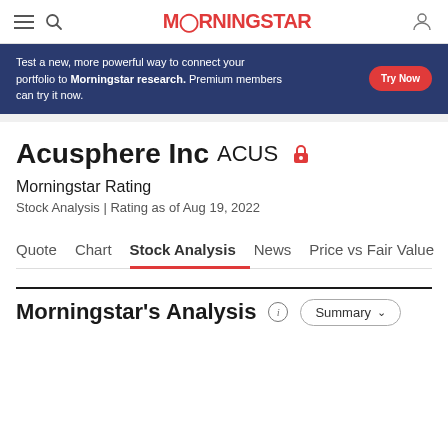Morningstar
[Figure (infographic): Morningstar promotional ad banner: 'Test a new, more powerful way to connect your portfolio to Morningstar research. Premium members can try it now.' with a 'Try Now' button]
Acusphere Inc ACUS — Morningstar Rating
Stock Analysis | Rating as of Aug 19, 2022
Quote | Chart | Stock Analysis | News | Price vs Fair Value | Sustai
Morningstar's Analysis
Summary